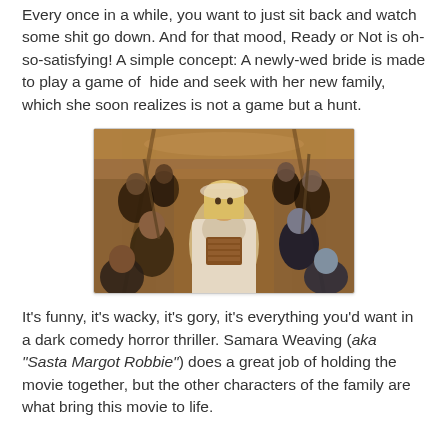Every once in a while, you want to just sit back and watch some shit go down. And for that mood, Ready or Not is oh-so-satisfying! A simple concept: A newly-wed bride is made to play a game of hide and seek with her new family, which she soon realizes is not a game but a hunt.
[Figure (photo): Movie poster for 'Ready or Not' showing a bride in a white wedding dress holding a shotgun, surrounded by formally dressed family members also holding weapons, against an ornate interior background.]
It's funny, it's wacky, it's gory, it's everything you'd want in a dark comedy horror thriller. Samara Weaving (aka "Sasta Margot Robbie") does a great job of holding the movie together, but the other characters of the family are what bring this movie to life.